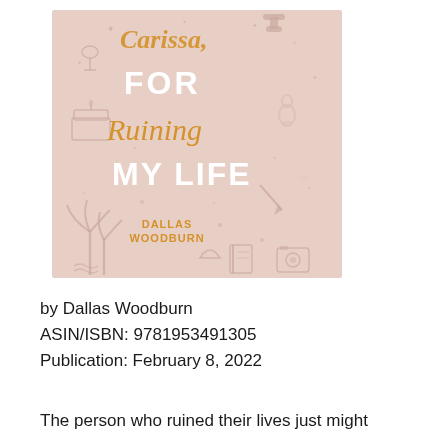[Figure (illustration): Book cover for 'Carissa, For Ruining My Life' by Dallas Woodburn. Pink/blush background with illustrated icons (dumbbells, wine glass, bowling pin, cake, pencil, taco, notebook, camera, palm trees, stars, hearts). Title text in white bold and golden script lettering.]
by Dallas Woodburn
ASIN/ISBN: 9781953491305
Publication: February 8, 2022
The person who ruined their lives just might